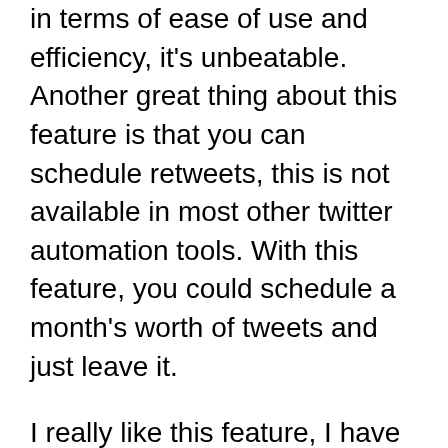in terms of ease of use and efficiency, it's unbeatable. Another great thing about this feature is that you can schedule retweets, this is not available in most other twitter automation tools. With this feature, you could schedule a month's worth of tweets and just leave it.
I really like this feature, I have used other twitter automation tools, but this one beats all of them in speed.
In the picture below is a screenshot of this feature. You click on the slot, fill it out and move on to the next one. It all works in a few clicks and is extremely efficient. Of course, you can change the time/ leave fields out if you